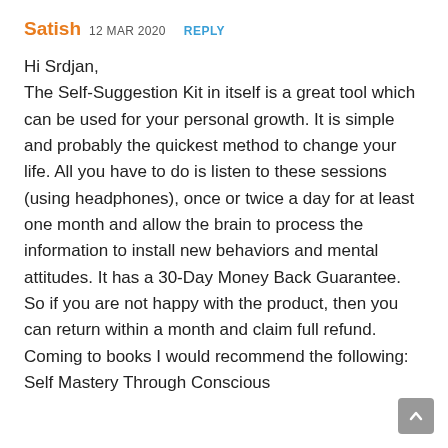Satish 12 MAR 2020 REPLY
Hi Srdjan,
The Self-Suggestion Kit in itself is a great tool which can be used for your personal growth. It is simple and probably the quickest method to change your life. All you have to do is listen to these sessions (using headphones), once or twice a day for at least one month and allow the brain to process the information to install new behaviors and mental attitudes. It has a 30-Day Money Back Guarantee. So if you are not happy with the product, then you can return within a month and claim full refund. Coming to books I would recommend the following:
Self Mastery Through Conscious...